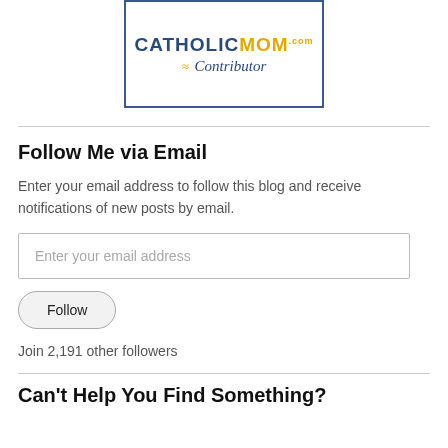[Figure (logo): CatholicMom.com Contributor badge logo with blue border, blue text CATHOLICMOM.com and gold italic 'Contributor' text with swash decoration]
Follow Me via Email
Enter your email address to follow this blog and receive notifications of new posts by email.
Enter your email address
Follow
Join 2,191 other followers
Can't Help You Find Something?